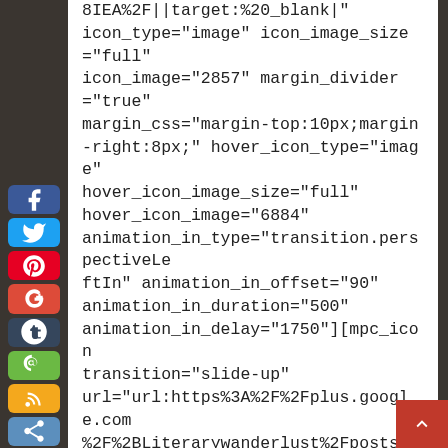[Figure (other): Vertical sidebar with social media icon buttons: Facebook (blue), Twitter (light blue), Pinterest (red), Google+ (orange-red), Tumblr (dark blue-gray), Evernote (green), RSS (orange), Share (steel blue)]
8IEA%2F||target:%20_blank|" icon_type="image" icon_image_size="full" icon_image="2857" margin_divider="true" margin_css="margin-top:10px;margin-right:8px;" hover_icon_type="image" hover_icon_image_size="full" hover_icon_image="6884" animation_in_type="transition.perspectiveLeftIn" animation_in_offset="90" animation_in_duration="500" animation_in_delay="1750"][mpc_icon transition="slide-up" url="url:https%3A%2F%2Fplus.google.com%2F%2BLiterarywanderlust%2Fposts%2F||target:%20_blank|" icon_type="image" icon_image_size="full" icon_image="6531" margin_divider="true" margin_css="margin-top:10px;margin-right:8px;" hover_icon_type="image" hover_icon_image_size="full" hover_icon_image="6882" animation_in_type="transition.perspectiveLeftIn" animation_in_offset="90" animation_in_duration="500" animation_in_delay="2000"][/vc_column]